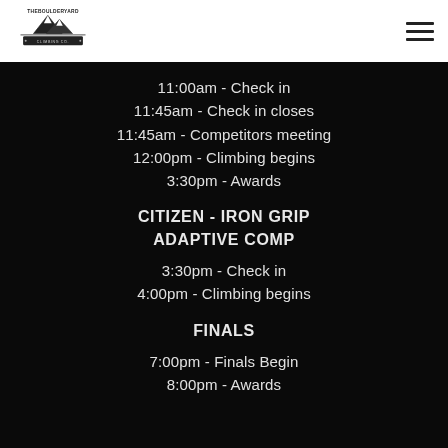[Figure (logo): The Boulder Yard logo with mountain graphic and banner text]
11:00am - Check in
11:45am - Check in closes
11:45am - Competitors meeting
12:00pm - Climbing begins
3:30pm - Awards
CITIZEN - IRON GRIP ADAPTIVE COMP
3:30pm - Check in
4:00pm - Climbing begins
FINALS
7:00pm - Finals Begin
8:00pm - Awards